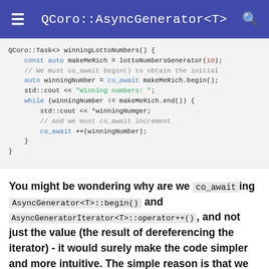QCoro::AsyncGenerator<T>
[Figure (screenshot): Code block showing QCoro::Task<> winningLottoNumbers() function with syntax highlighting in monospace font on light grey background]
You might be wondering why are we co_awaiting AsyncGenerator<T>::begin() and AsyncGeneratorIterator<T>::operator++(), and not just the value (the result of dereferencing the iterator) - it would surely make the code simpler and more intuitive. The simple reason is that we are co_awaiting the next iterator